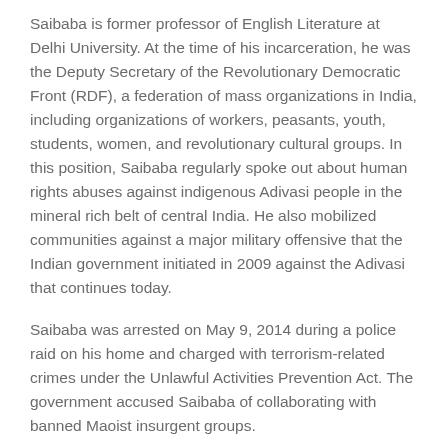Saibaba is former professor of English Literature at Delhi University. At the time of his incarceration, he was the Deputy Secretary of the Revolutionary Democratic Front (RDF), a federation of mass organizations in India, including organizations of workers, peasants, youth, students, women, and revolutionary cultural groups. In this position, Saibaba regularly spoke out about human rights abuses against indigenous Adivasi people in the mineral rich belt of central India. He also mobilized communities against a major military offensive that the Indian government initiated in 2009 against the Adivasi that continues today.
Saibaba was arrested on May 9, 2014 during a police raid on his home and charged with terrorism-related crimes under the Unlawful Activities Prevention Act. The government accused Saibaba of collaborating with banned Maoist insurgent groups.
The Supreme Court granted Saibaba bail in April 2016, citing his serious medical condition. He was sentenced as his children had left 90 percent...